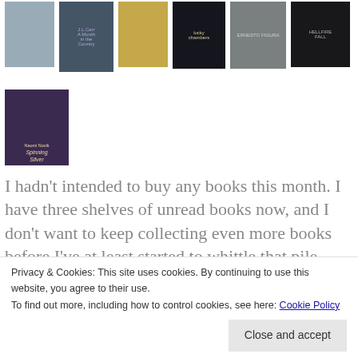[Figure (photo): A grid of book cover thumbnails. Top row shows 6 book covers including a tall ship cover, a dark city cover, an orange/yellow cover, a dark thriller cover, a silhouette on beach cover, and a dark architectural cover. Second row shows one book cover: Naomi Novik's 'Spinning Silver' with a portrait painting style illustration.]
I hadn't intended to buy any books this month. I have three shelves of unread books now, and I don't want to keep collecting even more books before I've at least started to whittle that pile
Privacy & Cookies: This site uses cookies. By continuing to use this website, you agree to their use.
To find out more, including how to control cookies, see here: Cookie Policy
Close and accept
Nervous Conditions by Tsitsi Dangarembga